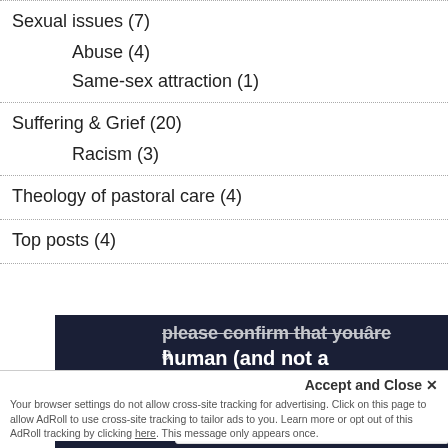Sexual issues (7)
Abuse (4)
Same-sex attraction (1)
Suffering & Grief (20)
Racism (3)
Theology of pastoral care (4)
Top posts (4)
[Figure (screenshot): CAPTCHA dialog with dark background showing text 'please confirm that youâre a human (and not a spambot).' and reCAPTCHA widget with 'I'm not a robot' checkbox]
Accept and Close ✕
Your browser settings do not allow cross-site tracking for advertising. Click on this page to allow AdRoll to use cross-site tracking to tailor ads to you. Learn more or opt out of this AdRoll tracking by clicking here. This message only appears once.